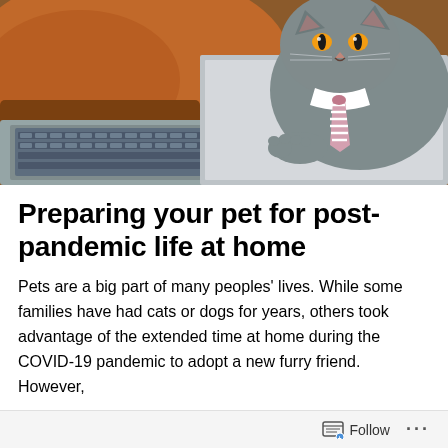[Figure (photo): A grey British Shorthair cat wearing a striped pink and white tie, sitting behind an open laptop keyboard on a brown leather couch, looking at the camera with yellow eyes.]
Preparing your pet for post-pandemic life at home
Pets are a big part of many peoples' lives. While some families have had cats or dogs for years, others took advantage of the extended time at home during the COVID-19 pandemic to adopt a new furry friend. However,
Follow ...